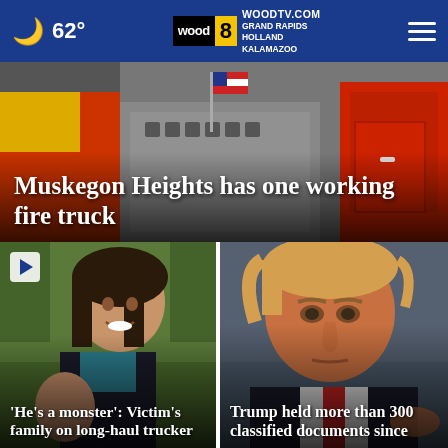62° | WOODTV.COM WOOD 8 | GRAND RAPIDS HOLLAND KALAMAZOO
[Figure (photo): Hero image of a fire truck scene with American flag, text overlay reading 'Muskegon Heights has one working fire truck']
Muskegon Heights has one working fire truck
[Figure (photo): Photo of a young woman smiling outdoors with a play button icon, headline overlay: '‘He’s a monster’: Victim’s family on long-haul trucker']
‘He’s a monster’: Victim’s family on long-haul trucker
[Figure (photo): Photo of Donald Trump with serious expression, headline overlay: 'Trump held more than 300 classified documents since']
Trump held more than 300 classified documents since